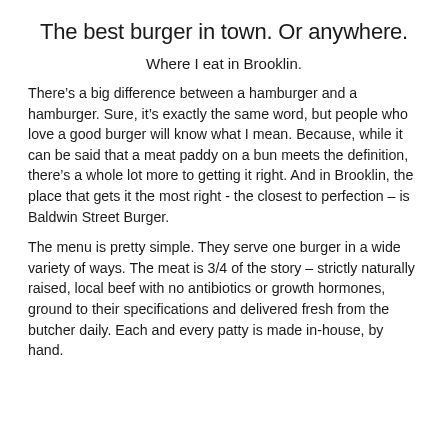The best burger in town. Or anywhere.
Where I eat in Brooklin.
There’s a big difference between a hamburger and a hamburger. Sure, it’s exactly the same word, but people who love a good burger will know what I mean. Because, while it can be said that a meat paddy on a bun meets the definition, there’s a whole lot more to getting it right. And in Brooklin, the place that gets it the most right - the closest to perfection – is Baldwin Street Burger.
The menu is pretty simple. They serve one burger in a wide variety of ways. The meat is 3/4 of the story – strictly naturally raised, local beef with no antibiotics or growth hormones, ground to their specifications and delivered fresh from the butcher daily. Each and every patty is made in-house, by hand.